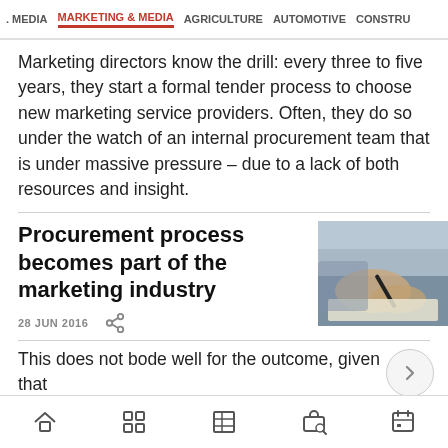. MEDIA   MARKETING & MEDIA   AGRICULTURE   AUTOMOTIVE   CONSTRU
Marketing directors know the drill: every three to five years, they start a formal tender process to choose new marketing service providers. Often, they do so under the watch of an internal procurement team that is under massive pressure – due to a lack of both resources and insight.
Procurement process becomes part of the marketing industry
28 JUN 2016
[Figure (photo): Person signing or writing on paper with a pen, close-up of hands]
This does not bode well for the outcome, given that